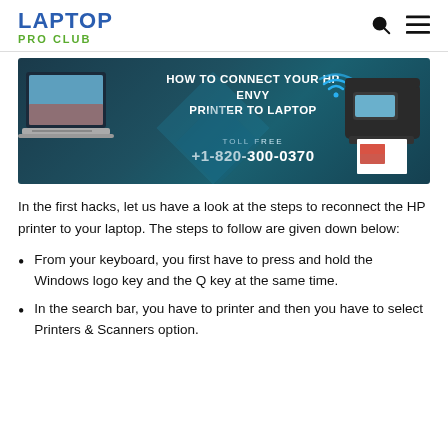LAPTOP PRO CLUB
[Figure (infographic): Banner image showing a laptop on the left and HP Envy printer on the right against a dark teal background. Text reads: HOW TO CONNECT YOUR HP ENVY PRINTER TO LAPTOP. TOLL FREE +1-820-300-0370. WiFi icon visible.]
In the first hacks, let us have a look at the steps to reconnect the HP printer to your laptop. The steps to follow are given down below:
From your keyboard, you first have to press and hold the Windows logo key and the Q key at the same time.
In the search bar, you have to printer and then you have to select Printers & Scanners option.